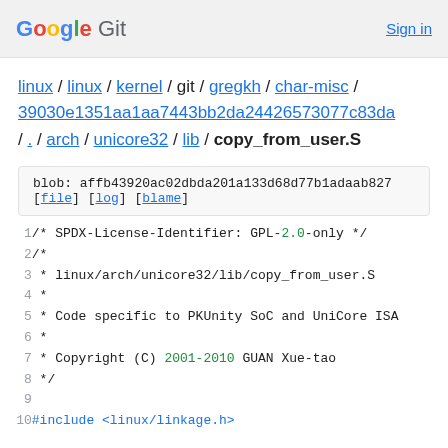Google Git   Sign in
linux / linux / kernel / git / gregkh / char-misc / 39030e1351aa1aa7443bb2da24426573077c83da / . / arch / unicore32 / lib / copy_from_user.S
blob: affb43920ac02dbda201a133d68d77b1adaab827
[file] [log] [blame]
1  /* SPDX-License-Identifier: GPL-2.0-only */
2  /*
3   * linux/arch/unicore32/lib/copy_from_user.S
4   *
5   * Code specific to PKUnity SoC and UniCore ISA
6   *
7   * Copyright (C) 2001-2010 GUAN Xue-tao
8   */
9
10  #include <linux/linkage.h>